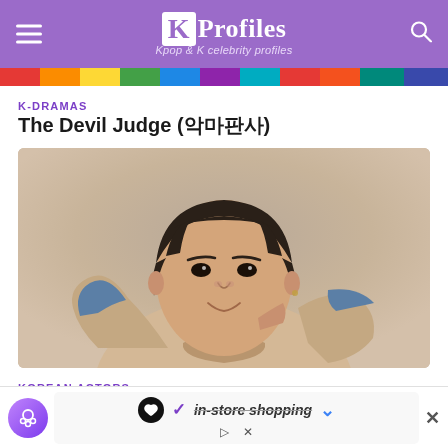KProfiles – Kpop & K celebrity profiles
K-DRAMAS
The Devil Judge (악마판사)
[Figure (photo): Portrait photo of a young Korean actor with dark hair, wearing a beige and blue patterned knit sweater, posing with hands behind head against a light beige background.]
KOREAN ACTORS
in-store shopping (advertisement banner)